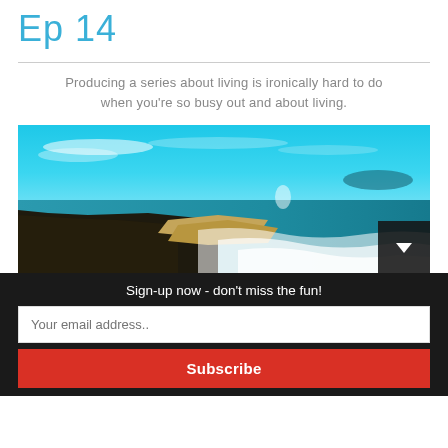Ep 14
Producing a series about living is ironically hard to do when you're so busy out and about living.
[Figure (photo): Aerial coastal landscape photo showing a long sandy beach with breaking waves, dark vegetation to the left, and a vivid blue sky with scattered clouds. A dark overlay box with a downward-pointing play/arrow button appears in the bottom-right corner.]
Sign-up now - don't miss the fun!
Your email address..
Subscribe